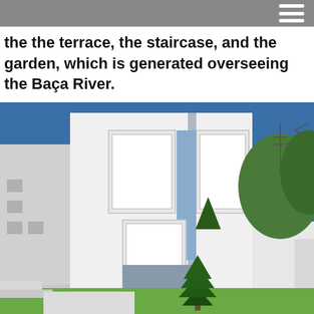the the terrace, the staircase, and the garden, which is generated overseeing the Baça River.
[Figure (photo): Exterior view of a modern minimalist white building with large rectangular window shutters and a narrow vertical slit window. A small conifer tree stands in the foreground on green grass. Surrounding structures and blue sky are visible.]